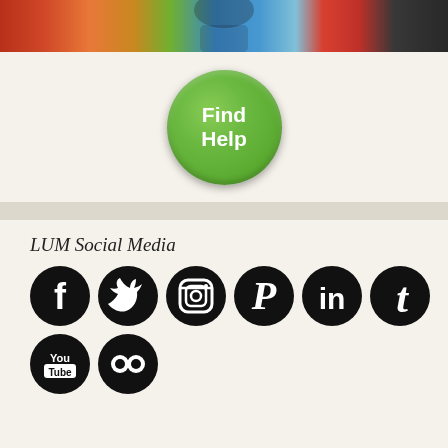[Figure (photo): Partial photo strip showing colorful image at top of page]
[Figure (other): Green circular 'Find Help' button]
LUM Social Media
[Figure (other): Social media icons row 1: Facebook, Twitter, Instagram, Pinterest, LinkedIn, Tumblr]
[Figure (other): Social media icons row 2: YouTube, Flickr]